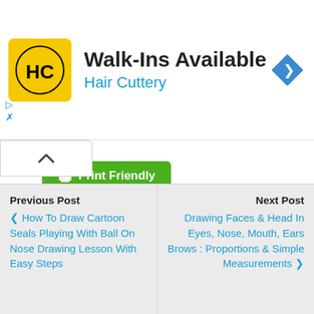[Figure (screenshot): Hair Cuttery advertisement banner with yellow logo, 'Walk-Ins Available' headline, 'Hair Cuttery' subheading in blue, and blue diamond navigation icon]
[Figure (screenshot): Print Friendly green button with printer icon]
[Figure (infographic): Social sharing icons row: Facebook (blue f), Twitter (blue bird), Reddit (orange alien), Pinterest (red P), Email (blue envelope), Print (green printer), More (blue plus)]
Previous Post
‹ How To Draw Cartoon Seals Playing With Ball On Nose Drawing Lesson With Easy Steps
Next Post
Drawing Faces & Head In Eyes, Nose, Mouth, Ears Brows : Proportions & Simple Measurements ›